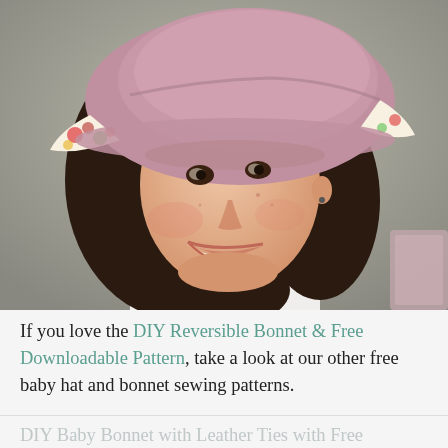[Figure (photo): A young woman smiling and wearing a reversible bucket hat — one side in pink/mauve fabric, the other side visible at the brim showing a floral print with red and green flowers on white. She has dark hair and is wearing a white top. Background is a neutral gray-green.]
If you love the DIY Reversible Bonnet & Free Downloadable Pattern, take a look at our other free baby hat and bonnet sewing patterns.
DIY Baby Bonnet with Leather Ties with Free